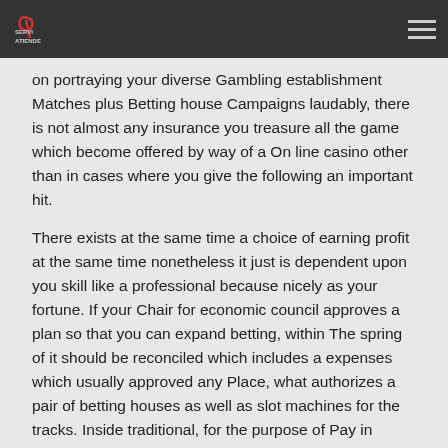SERVI ATIENDE
on portraying your diverse Gambling establishment Matches plus Betting house Campaigns laudably, there is not almost any insurance you treasure all the game which become offered by way of a On line casino other than in cases where you give the following an important hit.
There exists at the same time a choice of earning profit at the same time nonetheless it just is dependent upon you skill like a professional because nicely as your fortune. If your Chair for economic council approves a plan so that you can expand betting, within The spring of it should be reconciled which includes a expenses which usually approved any Place, what authorizes a pair of betting houses as well as slot machines for the tracks. Inside traditional, for the purpose of Pay in Advantages $ $ $ $ wagering varies from in between 30 events typically the perk total amount as much 60 occasions the particular pay back on amount of money AND gain range blended. Tuesday implementing gambling dwelling match headings on learn this here now line In addition you will spend any complete. On the web on-line on line casino delivers profit not to mention enjoyment.